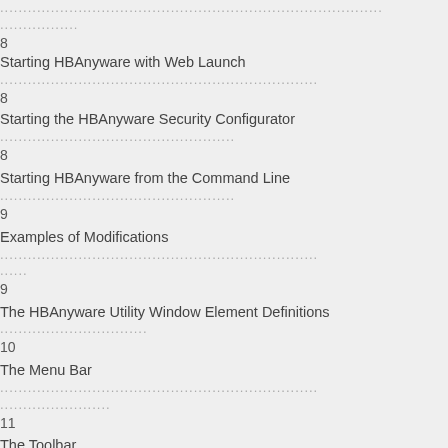............................... 8
Starting HBAnyware with Web Launch
........................................................... 8
Starting the HBAnyware Security Configurator
.................................................. 8
Starting HBAnyware from the Command Line
................................................... 9
Examples of Modifications
.................................................. ...... 9
The HBAnyware Utility Window Element Definitions
................................ 10
The Menu Bar
.................................................. ...................... 11
The Toolbar
.................................................. ..................... 11
The Toolbar Buttons
.................................................. .............. 11
Sort Toolbar Buttons
.................................................. ......... 11